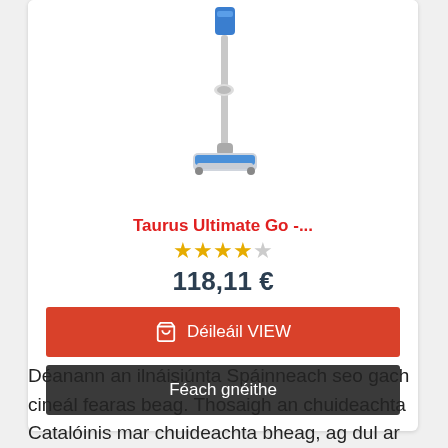[Figure (photo): Product photo of a Taurus Ultimate Go cordless stick vacuum cleaner, white and blue, shown at an angle on a white background]
Taurus Ultimate Go -...
★★★★☆  (4 out of 5 stars rating)
118,11 €
Déileáil VIEW
Féach gnéithe
Déanann an ilnáisiúnta Spáinneach seo gach cineál fearas beag. Thosaigh an chuideachta Catalóinis mar chuideachta bheag, ag dul ar aghaidh go bhfuil na céadta oibrithe agus oifigí i